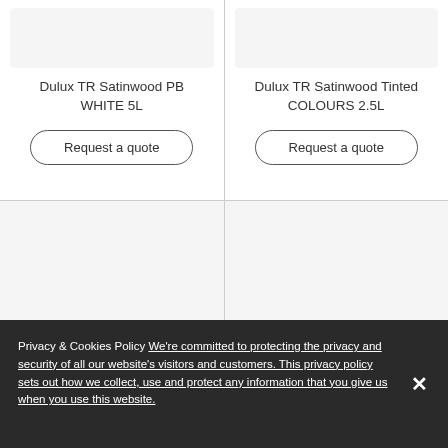Dulux TR Satinwood PB WHITE 5L
Dulux TR Satinwood Tinted COLOURS 2.5L
Request a quote
Request a quote
[Figure (photo): Product image area for Dulux TR Satinwood Tinted COLOURS 2.5L (lower, partially cropped)]
[Figure (photo): Product image area (lower right, partially cropped)]
Privacy & Cookies Policy We're committed to protecting the privacy and security of all our website's visitors and customers. This privacy policy sets out how we collect, use and protect any information that you give us when you use this website.